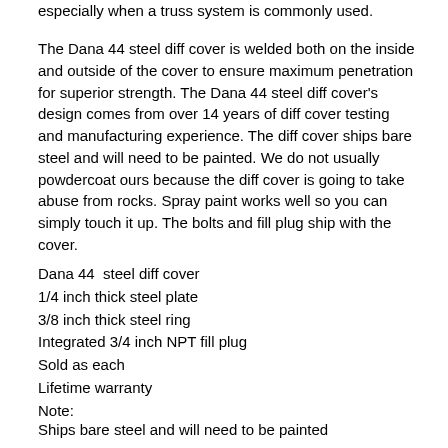especially when a truss system is commonly used.
The Dana 44 steel diff cover is welded both on the inside and outside of the cover to ensure maximum penetration for superior strength. The Dana 44 steel diff cover's design comes from over 14 years of diff cover testing and manufacturing experience. The diff cover ships bare steel and will need to be painted. We do not usually powdercoat ours because the diff cover is going to take abuse from rocks. Spray paint works well so you can simply touch it up. The bolts and fill plug ship with the cover.
Dana 44  steel diff cover
1/4 inch thick steel plate
3/8 inch thick steel ring
Integrated 3/4 inch NPT fill plug
Sold as each
Lifetime warranty
Note:
Ships bare steel and will need to be painted